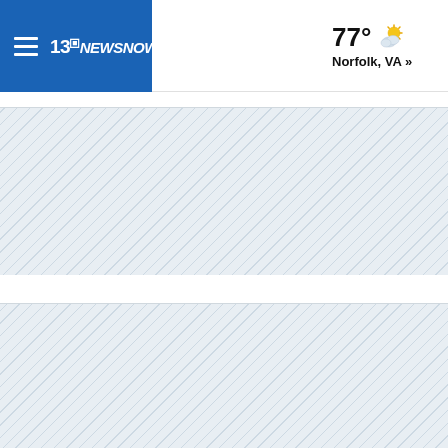13NewsNow — Norfolk, VA — 77°
[Figure (screenshot): Diagonal stripe loading placeholder area 1]
[Figure (screenshot): Diagonal stripe loading placeholder area 2]